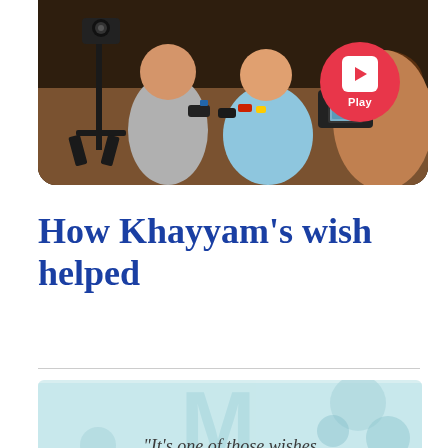[Figure (photo): Children sitting at a table with toy cars and a video camera on a tripod, with a play button overlay indicating a video]
How Khayyam's wish helped
"It's one of those wishes